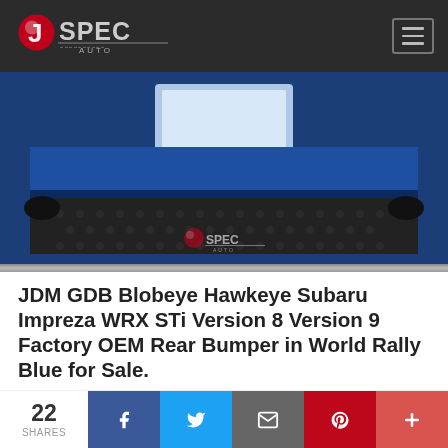JSpec Auto logo and navigation
[Figure (photo): JDM GDB Blobeye Hawkeye Subaru Impreza WRX STi Factory OEM Rear Bumper in World Rally Blue - close-up photo of the lower bumper section showing honeycomb-textured diffuser area, blue painted bumper body above, and the JSpec Auto watermark logo in center]
JDM GDB Blobeye Hawkeye Subaru Impreza WRX STi Version 8 Version 9 Factory OEM Rear Bumper in World Rally Blue for Sale.
Here is a JDM GD Subaru Impreza WRX STi Blobeye Hawkeye Version 8 Version 9 Factory OEM Rear Bumper in
22 SHARES | Facebook | Twitter | Email | Pinterest | More